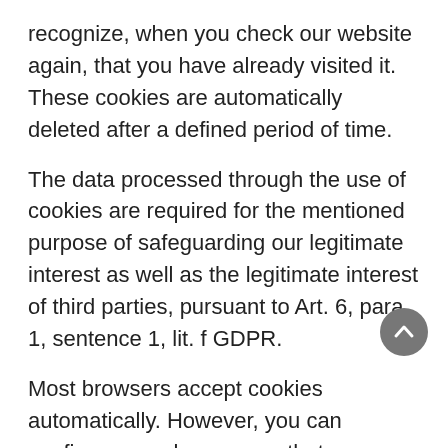recognize, when you check our website again, that you have already visited it. These cookies are automatically deleted after a defined period of time.
The data processed through the use of cookies are required for the mentioned purpose of safeguarding our legitimate interest as well as the legitimate interest of third parties, pursuant to Art. 6, para. 1, sentence 1, lit. f GDPR.
Most browsers accept cookies automatically. However, you can configure your browser so that no cookies are stored on your computer or a note always appears before the creation of a new cookie. However, the complete deactivation of cookies may affect your use of certain features of our website.